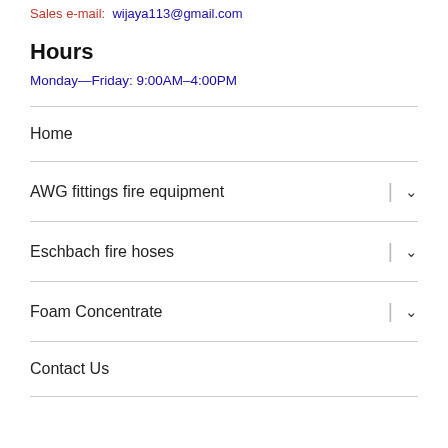Sales e-mail: wijaya113@gmail.com
Hours
Monday—Friday: 9:00AM–4:00PM
Home
AWG fittings fire equipment
Eschbach fire hoses
Foam Concentrate
Contact Us